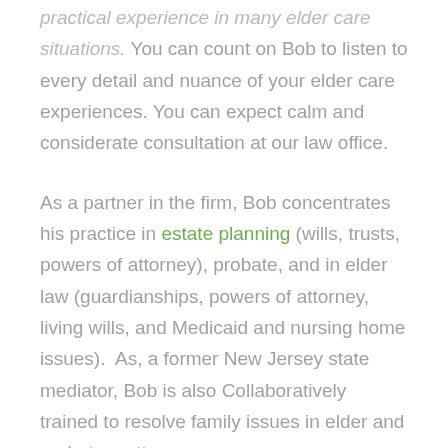practical experience in many elder care situations. You can count on Bob to listen to every detail and nuance of your elder care experiences. You can expect calm and considerate consultation at our law office.
As a partner in the firm, Bob concentrates his practice in estate planning (wills, trusts, powers of attorney), probate, and in elder law (guardianships, powers of attorney, living wills, and Medicaid and nursing home issues). As, a former New Jersey state mediator, Bob is also Collaboratively trained to resolve family issues in elder and probate matters.
Since becoming an attorney in 1985, Bob has...